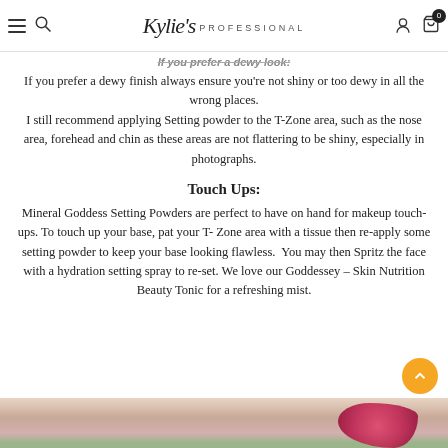Kylie's Professional
If you prefer a dewy look:
If you prefer a dewy finish always ensure you're not shiny or too dewy in all the wrong places. I still recommend applying Setting powder to the T-Zone area, such as the nose area, forehead and chin as these areas are not flattering to be shiny, especially in photographs.
Touch Ups:
Mineral Goddess Setting Powders are perfect to have on hand for makeup touch-ups. To touch up your base, pat your T- Zone area with a tissue then re-apply some setting powder to keep your base looking flawless. You may then Spritz the face with a hydration setting spray to re-set. We love our Goddessey – Skin Nutrition Beauty Tonic for a refreshing mist.
[Figure (photo): Bottom portion of a woman's face/neck near pink flowers and greenery]